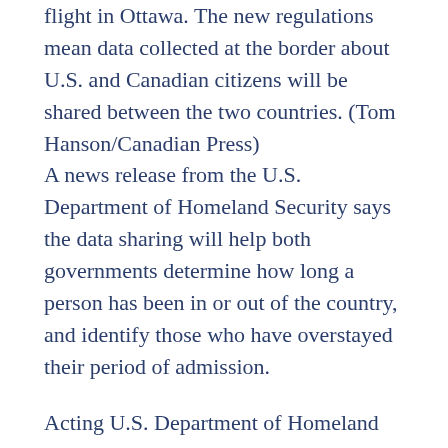flight in Ottawa. The new regulations mean data collected at the border about U.S. and Canadian citizens will be shared between the two countries. (Tom Hanson/Canadian Press)
A news release from the U.S. Department of Homeland Security says the data sharing will help both governments determine how long a person has been in or out of the country, and identify those who have overstayed their period of admission.
Acting U.S. Department of Homeland Security Secretary Kevin K. McAleenan said in a statement that he is proud of the co-operation between the two countries.
“Ultimately, our commitment to sharing information on travellers moving across our borders helps improve public safety, detect dangerous actors and those who